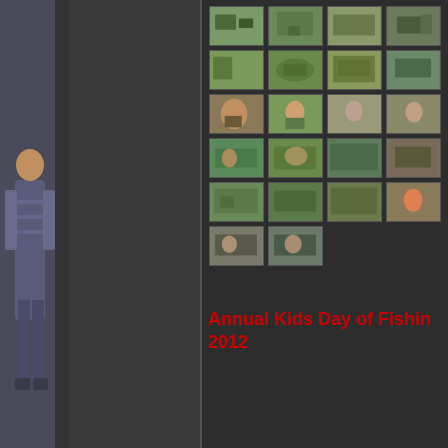[Figure (photo): Left panel with dark background showing partial view of a person standing, dark grey sidebar]
[Figure (photo): Grid of thumbnail photos from Annual Kids Day of Fishing 2012 event showing outdoor scenes, groups of people, children]
Annual Kids Day of Fishing 2012